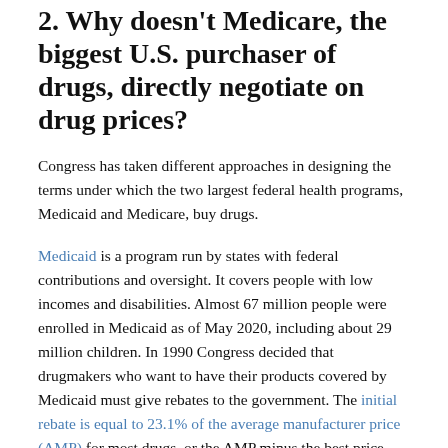2. Why doesn't Medicare, the biggest U.S. purchaser of drugs, directly negotiate on drug prices?
Congress has taken different approaches in designing the terms under which the two largest federal health programs, Medicaid and Medicare, buy drugs.
Medicaid is a program run by states with federal contributions and oversight. It covers people with low incomes and disabilities. Almost 67 million people were enrolled in Medicaid as of May 2020, including about 29 million children. In 1990 Congress decided that drugmakers who want to have their products covered by Medicaid must give rebates to the government. The initial rebate is equal to 23.1% of the average manufacturer price (AMP) for most drugs, or the AMP minus the best price provided to most other private-sector payers, whichever is greater. An additional rebate kicks in when prices rise faster than general